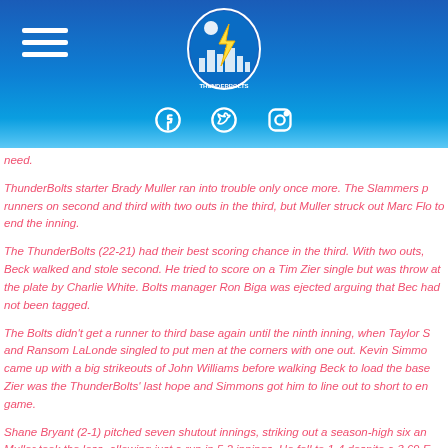Windy City ThunderBolts website header with logo, hamburger menu, and social media icons
need.
ThunderBolts starter Brady Muller ran into trouble only once more. The Slammers put runners on second and third with two outs in the third, but Muller struck out Marc Flo to end the inning.
The ThunderBolts (22-21) had their best scoring chance in the third. With two outs, Beck walked and stole second. He tried to score on a Tim Zier single but was throw at the plate by Charlie White. Bolts manager Ron Biga was ejected arguing that Bec had not been tagged.
The Bolts didn't get a runner to third base again until the ninth inning, when Taylor S and Ransom LaLonde singled to put men at the corners with one out. Kevin Simmo came up with a big strikeouts of John Williams before walking Beck to load the base Zier was the ThunderBolts' last hope and Simmons got him to line out to short to en game.
Shane Bryant (2-1) pitched seven shutout innings, striking out a season-high six an Muller took the loss, allowing just a run in 5.2 innings. He fell to 1-4 despite a 3.69 E
The ThunderBolts will continue their three-game series with the first-place Joliet Slammers at Silver Cross Field on Saturday. Clay Chapman (4-2, 2.66) will make T